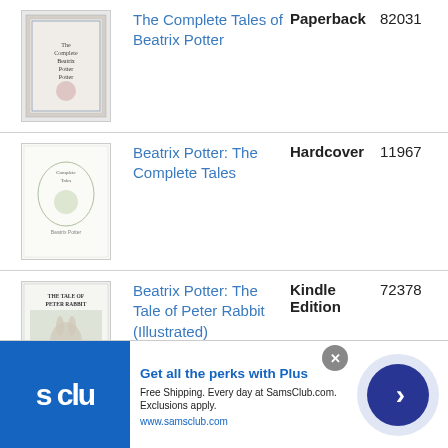| Image | Title | Format | Number |
| --- | --- | --- | --- |
| [book cover] | The Complete Tales of Beatrix Potter | Paperback | 82031 |
| [book cover] | Beatrix Potter: The Complete Tales | Hardcover | 11967 |
| [book cover] | Beatrix Potter: The Tale of Peter Rabbit (Illustrated) | Kindle Edition | 72378 |
[Figure (screenshot): Advertisement banner for Sam's Club Plus membership: 'Get all the perks with Plus. Free Shipping. Every day at SamsClub.com. Exclusions apply. www.samsclub.com']